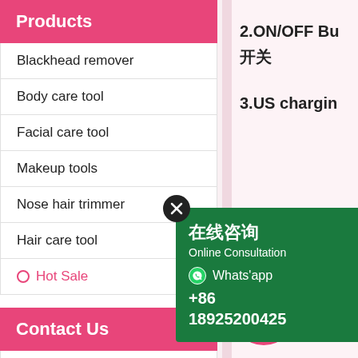Products
Blackhead remover
Body care tool
Facial care tool
Makeup tools
Nose hair trimmer
Hair care tool
Hot Sale
Contact Us
Sunny Zeng
2.ON/OFF Bu 开关
3.US chargin 电插口
[Figure (screenshot): Online Consultation popup overlay (在线咨询) with WhatsApp contact +86 18925200425 on green background, with close X button]
[Figure (infographic): Pink circle with number 1 and Chinese text]